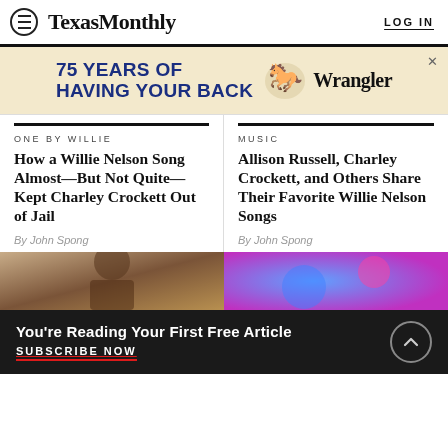Texas Monthly — LOG IN
[Figure (other): Wrangler advertisement banner: '75 YEARS OF HAVING YOUR BACK' with horse logo and Wrangler text]
ONE BY WILLIE
How a Willie Nelson Song Almost—But Not Quite—Kept Charley Crockett Out of Jail
By John Spong
MUSIC
Allison Russell, Charley Crockett, and Others Share Their Favorite Willie Nelson Songs
By John Spong
[Figure (photo): Photo of person with headphones]
[Figure (photo): Colorful concert/music photo with blue, purple, and pink lighting]
You're Reading Your First Free Article
SUBSCRIBE NOW